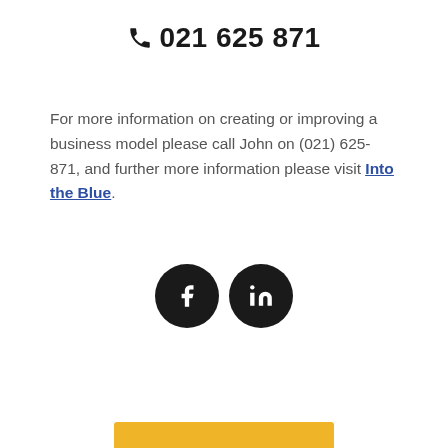📞 021 625 871
For more information on creating or improving a business model please call John on (021) 625-871, and further more information please visit Into the Blue.
[Figure (illustration): Two social media icon circles: Facebook (f) and LinkedIn (in), both black circles with white icons]
[Figure (other): Yellow/gold horizontal bar at the bottom of the page]